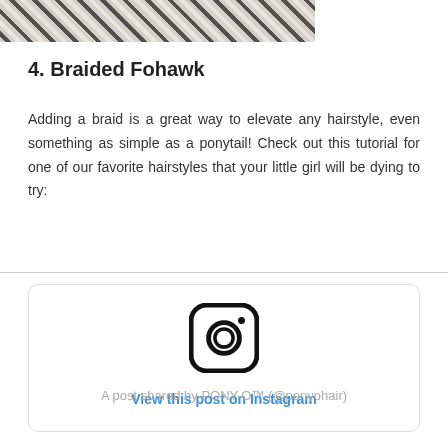[Figure (photo): Partial image of a person wearing a leopard print top, cropped at the top of the page]
4. Braided Fohawk
Adding a braid is a great way to elevate any hairstyle, even something as simple as a ponytail! Check out this tutorial for one of our favorite hairstyles that your little girl will be dying to try:
[Figure (screenshot): Instagram embedded post card showing the Instagram logo, a 'View this post on Instagram' link, and a credit line 'A post shared by PONY-O™ (@ponyohair)']